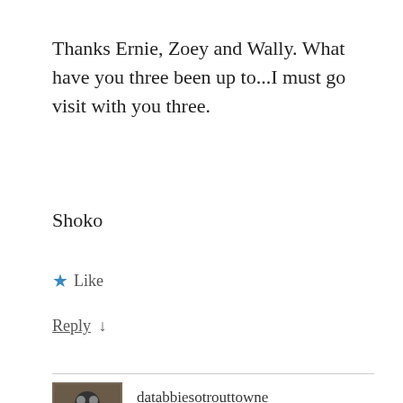Thanks Ernie, Zoey and Wally. What have you three been up to...I must go visit with you three.
Shoko
★ Like
Reply ↓
databbiesotrouttowne
September 7, 2016 at 2:47 pm
kali & shoko… thiz waz a total lee grate